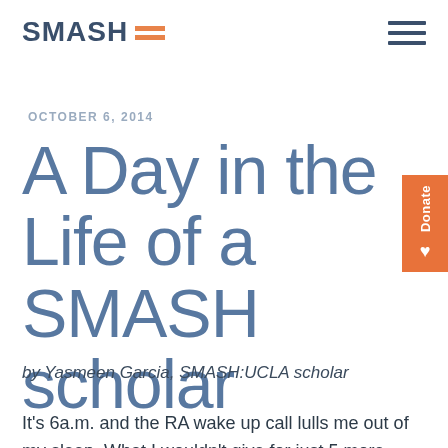SMASH
OCTOBER 6, 2014
A Day in the Life of a SMASH scholar
by Yasmeen Garcia, SMASH:UCLA scholar
It's 6a.m. and the RA wake up call lulls me out of my sleep. What I wouldn't give for just 5 more